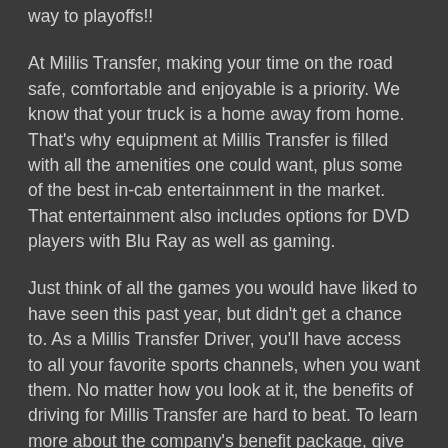way to playoffs!!
At Millis Transfer, making your time on the road safe, comfortable and enjoyable is a priority. We know that your truck is a home away from home. That's why equipment at Millis Transfer is filled with all the amenities one could want, plus some of the best in-cab entertainment in the market. That entertainment also includes options for DVD players with Blu Ray as well as gaming.
Just think of all the games you would have liked to have seen this past year, but didn't get a chance to. As a Millis Transfer Driver, you'll have access to all your favorite sports channels, when you want them. No matter how you look at it, the benefits of driving for Millis Transfer are hard to beat. To learn more about the company's benefit package, give us a call at 1-800-937-0880. This is one call to action you don't want to miss!! Go ahead...make the decision to finally sign with Millis Transfer. You'll be glad that you did!!